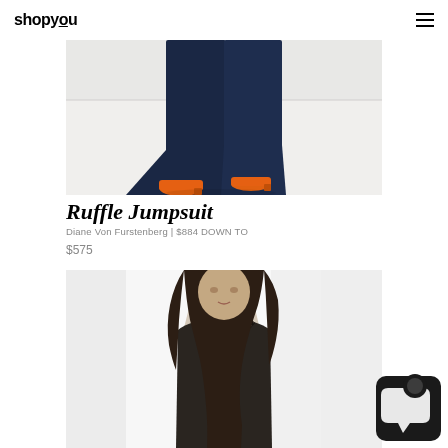shopyou
[Figure (photo): Bottom portion of a fashion product photo showing navy blue wide-leg jumpsuit with orange high-heel shoes on a white background]
Ruffle Jumpsuit
Diane Von Furstenberg | $884 DOWN TO
$575
[Figure (photo): Fashion product photo of a woman with long dark hair wearing a dark lace-trim slip dress/camisole against a bright white background]
[Figure (logo): Chat widget icon in bottom right corner - black rounded square with speech bubble]